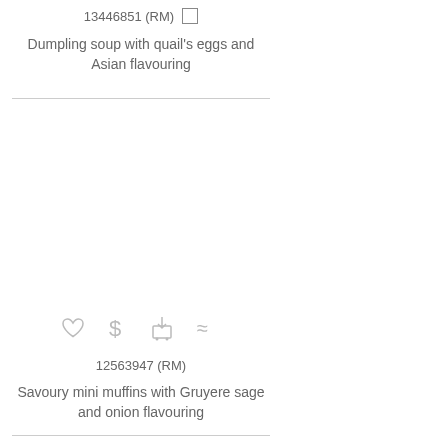13446851 (RM)
Dumpling soup with quail's eggs and Asian flavouring
[Figure (other): Row of icons: heart, dollar sign, shopping cart with download arrow, and approximately-equal sign]
12563947 (RM)
Savoury mini muffins with Gruyere sage and onion flavouring